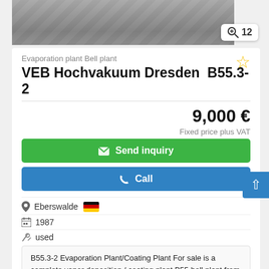[Figure (photo): Evaporation plant / bell plant equipment photo, partially visible at top of page]
Evaporation plant Bell plant
VEB Hochvakuum Dresden  B55.3-2
9,000 €
Fixed price plus VAT
Send inquiry
Call
Eberswalde
1987
used
B55.3-2 Evaporation Plant/Coating Plant For sale is a complete vapor deposition / coating plant B55 bell plant from the manufacturer VEB Hochvakuum